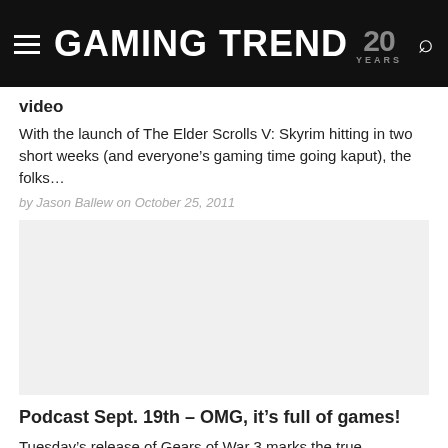GAMING TREND 20 YEARS
video
With the launch of The Elder Scrolls V: Skyrim hitting in two short weeks (and everyone’s gaming time going kaput), the folks…
by Jason Ballew on October 25, 2011
[Figure (photo): Article thumbnail image placeholder]
Podcast Sept. 19th – OMG, it’s full of games!
Tuesday’s release of Gears of War 3 marks the true beginning of this fall’s holiday gaming rush, and oh, what a rush…
by Mike Dunn on September 19, 2011